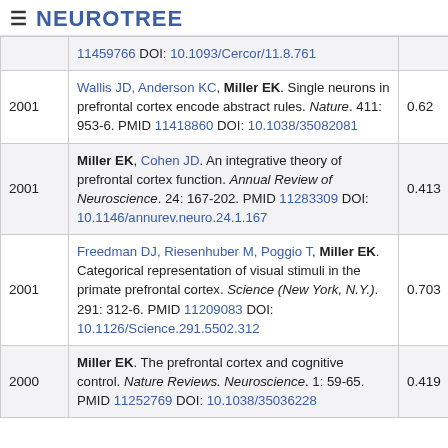NEUROTREE
| Year | Reference | Score |
| --- | --- | --- |
|  | 11459766 DOI: 10.1093/Cercor/11.8.761 |  |
| 2001 | Wallis JD, Anderson KC, Miller EK. Single neurons in prefrontal cortex encode abstract rules. Nature. 411: 953-6. PMID 11418860 DOI: 10.1038/35082081 | 0.62 |
| 2001 | Miller EK, Cohen JD. An integrative theory of prefrontal cortex function. Annual Review of Neuroscience. 24: 167-202. PMID 11283309 DOI: 10.1146/annurev.neuro.24.1.167 | 0.413 |
| 2001 | Freedman DJ, Riesenhuber M, Poggio T, Miller EK. Categorical representation of visual stimuli in the primate prefrontal cortex. Science (New York, N.Y.). 291: 312-6. PMID 11209083 DOI: 10.1126/Science.291.5502.312 | 0.703 |
| 2000 | Miller EK. The prefrontal cortex and cognitive control. Nature Reviews. Neuroscience. 1: 59-65. PMID 11252769 DOI: 10.1038/35036228 | 0.419 |